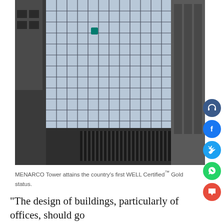[Figure (photo): Upward-angle photograph of MENARCO Tower, a modern glass curtain wall skyscraper flanked by neighboring buildings. Social media share icons (headphones, Facebook, Twitter, WhatsApp, comment/chat) are overlaid on the right side of the image.]
MENARCO Tower attains the country's first WELL Certified™ Gold status.
“The design of buildings, particularly of offices, should go